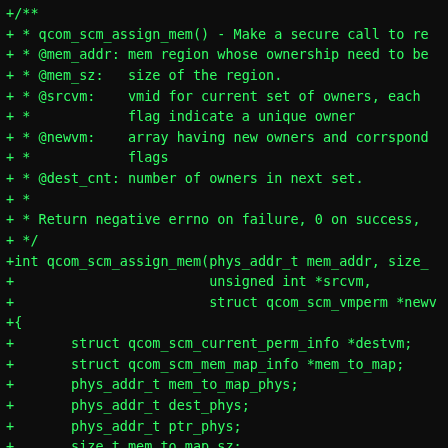+/**
+ * qcom_scm_assign_mem() - Make a secure call to re
+ * @mem_addr: mem region whose ownership need to be
+ * @mem_sz:   size of the region.
+ * @srcvm:    vmid for current set of owners, each
+ *            flag indicate a unique owner
+ * @newvm:    array having new owners and corrspond
+ *            flags
+ * @dest_cnt: number of owners in next set.
+ *
+ * Return negative errno on failure, 0 on success,
+ */
+int qcom_scm_assign_mem(phys_addr_t mem_addr, size_
+                        unsigned int *srcvm,
+                        struct qcom_scm_vmperm *newv
+{
+       struct qcom_scm_current_perm_info *destvm;
+       struct qcom_scm_mem_map_info *mem_to_map;
+       phys_addr_t mem_to_map_phys;
+       phys_addr_t dest_phys;
+       phys_addr_t ptr_phys;
+       size_t mem_to_map_sz;
+       size_t dest_sz;
+       size_t src_sz;
+       size_t ptr_sz;
+       int next_vm;
+       __le32 *src;
+       void *ptr;
+       int ret;
+       int len;